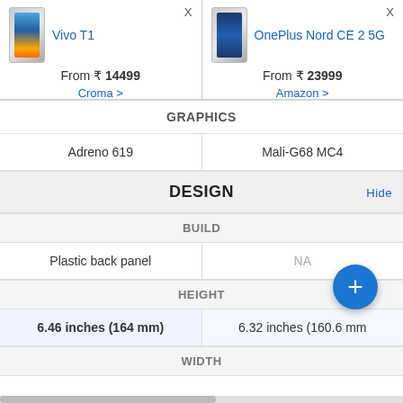| Vivo T1 | OnePlus Nord CE 2 5G |
| --- | --- |
| From ₹ 14499
Croma > | From ₹ 23999
Amazon > |
| GRAPHICS | GRAPHICS |
| Adreno 619 | Mali-G68 MC4 |
| DESIGN | DESIGN |
| BUILD | BUILD |
| Plastic back panel | NA |
| HEIGHT | HEIGHT |
| 6.46 inches (164 mm) | 6.32 inches (160.6 mm) |
| WIDTH | WIDTH |
[Figure (other): Floating action button with + symbol in blue circle, bottom right]